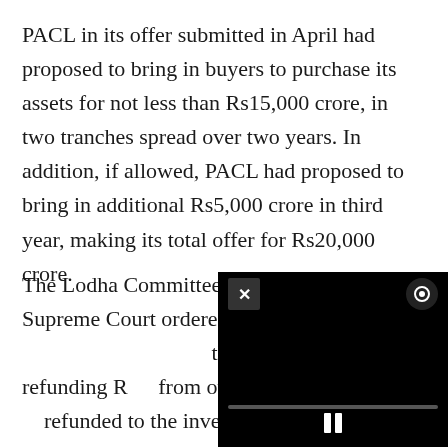PACL in its offer submitted in April had proposed to bring in buyers to purchase its assets for not less than Rs15,000 crore, in two tranches spread over two years. In addition, if allowed, PACL had proposed to bring in additional Rs5,000 crore in third year, making its total offer for Rs20,000 crore.
The Lodha Committee is supervising the Supreme Court ordered process of selling PACL's assets across the country and refunding Rs ... from over 56 crore investors. ... refunded to the investors was allegedly collected by